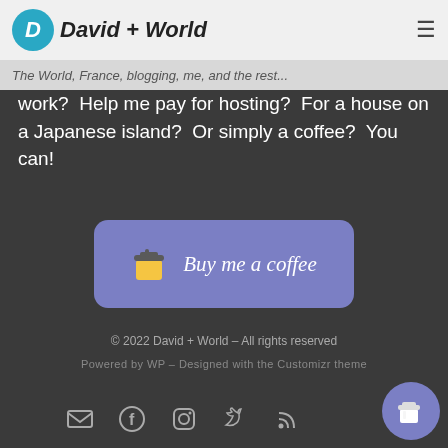David + World – The World, France, blogging, me, and the rest...
work? Help me pay for hosting? For a house on a Japanese island? Or simply a coffee? You can!
[Figure (other): Blue-purple rounded button with coffee cup emoji and text 'Buy me a coffee']
© 2022 David + World – All rights reserved
Powered by WP – Designed with the Customizr theme
[Figure (other): Row of social media icons: email, Facebook, Instagram, Twitter, RSS feed; and a floating coffee button]